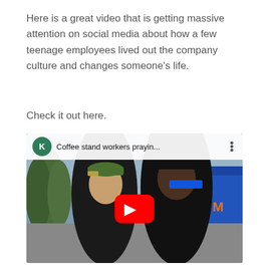Here is a great video that is getting massive attention on social media about how a few teenage employees lived out the company culture and changes someone's life.
Check it out here.
[Figure (screenshot): YouTube video thumbnail showing two young men standing outdoors in front of a building. The video title reads 'Coffee stand workers prayin...' with a green channel avatar showing the letter K. A red YouTube play button is overlaid in the center.]